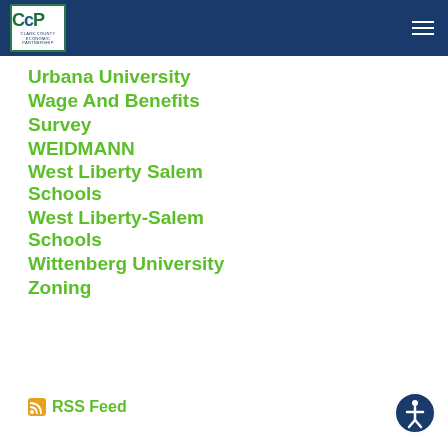CCP Logo and navigation header
Urbana University
Wage And Benefits
Survey
WEIDMANN
West Liberty Salem Schools
West Liberty-Salem Schools
Wittenberg University
Zoning
RSS Feed